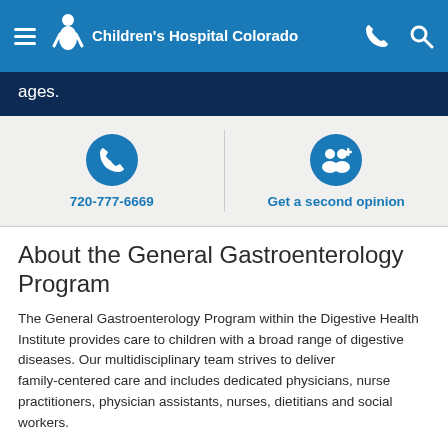Children's Hospital Colorado
ages.
[Figure (infographic): Phone icon circle button linking to 720-777-6669 and a second opinion group icon circle button]
720-777-6669
Get a second opinion
About the General Gastroenterology Program
The General Gastroenterology Program within the Digestive Health Institute provides care to children with a broad range of digestive diseases. Our multidisciplinary team strives to deliver family-centered care and includes dedicated physicians, nurse practitioners, physician assistants, nurses, dietitians and social workers.